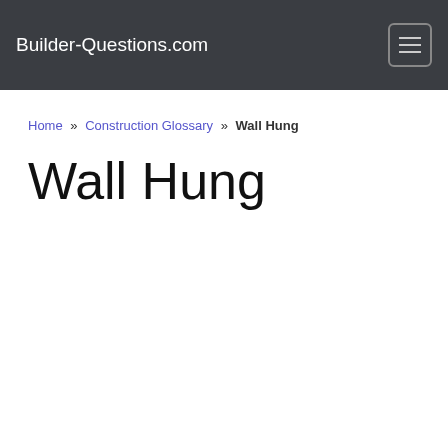Builder-Questions.com
Home » Construction Glossary » Wall Hung
Wall Hung